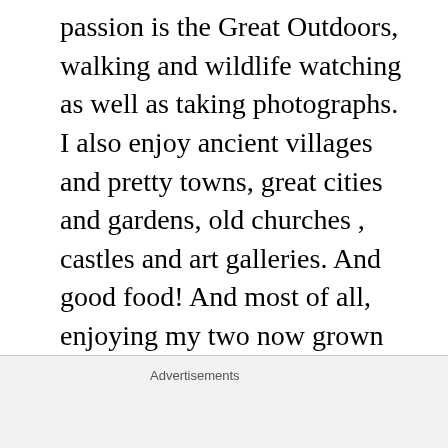passion is the Great Outdoors, walking and wildlife watching as well as taking photographs. I also enjoy ancient villages and pretty towns, great cities and gardens, old churches , castles and art galleries. And good food! And most of all, enjoying my two now grown up adult sons as they build their own lives and memories. There are a growing number of walks described in the blog but I am not some Wild Woman of the Mountains, fearless and intrepid (I wish). I suffer from vertigo which has got worse as
Advertisements